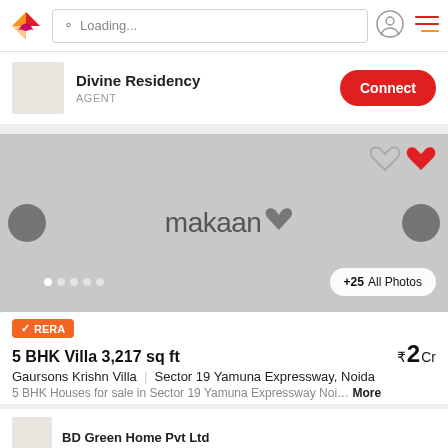Loading...
Divine Residency
AGENT
[Figure (screenshot): Property listing image placeholder with makaan logo watermark, navigation arrows, pagination dots, and +25 All Photos button]
RERA
5 BHK Villa 3,217 sq ft ₹2 Cr
Gaursons Krishn Villa | Sector 19 Yamuna Expressway, Noida
5 BHK Houses for sale in Sector 19 Yamuna Expressway Noi… More
BD Green Home Pvt Ltd